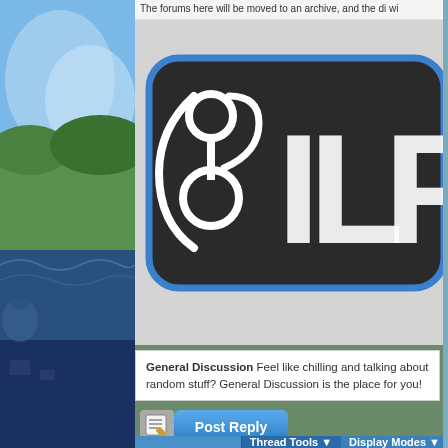The forums here will be moved to an archive, and the di wi
[Figure (logo): Silph Road (SILP) logo — large white letters on dark rounded rectangle with blue border, featuring a stylized figure with circles]
General Discussion Feel like chilling and talking about random stuff? General Discussion is the place for you!
[Figure (screenshot): Post Reply button — blue rounded button with paper/pen icon and white bold text 'Post Reply']
|  | Thread Tools | Display Modes |
| --- | --- | --- |
| 8th May 2014, 08:59 PM |  | #1 |
| Pokemon Master | How to transfer N64 |  |